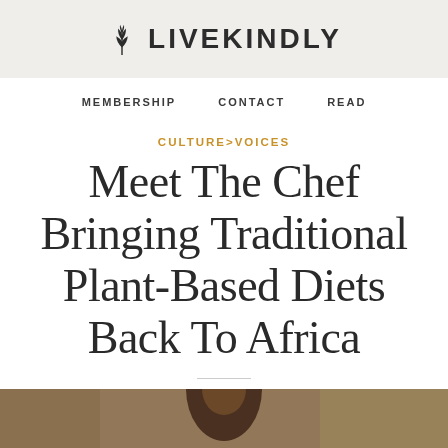LIVEKINDLY
MEMBERSHIP   CONTACT   READ
CULTURE>VOICES
Meet The Chef Bringing Traditional Plant-Based Diets Back To Africa
[Figure (photo): Photo of a person outdoors with a blurred background, bottom strip of a portrait image]